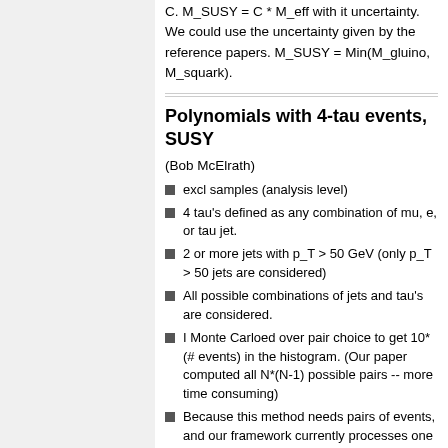C. M_SUSY = C * M_eff with it uncertainty. We could use the uncertainty given by the reference papers. M_SUSY = Min(M_gluino, M_squark).
Polynomials with 4-tau events, SUSY
(Bob McElrath)
excl samples (analysis level)
4 tau's defined as any combination of mu, e, or tau jet.
2 or more jets with p_T > 50 GeV (only p_T > 50 jets are considered)
All possible combinations of jets and tau's are considered.
I Monte Carloed over pair choice to get 10* (# events) in the histogram. (Our paper computed all N*(N-1) possible pairs -- more time consuming)
Because this method needs pairs of events, and our framework currently processes one file at a time, the only way to get a few...